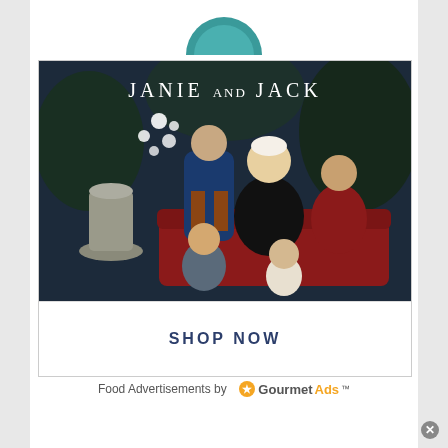[Figure (photo): Janie and Jack children's clothing advertisement showing five children dressed in holiday outfits seated on and around a red velvet sofa with floral backdrop]
SHOP NOW
Food Advertisements by GourmetAds™